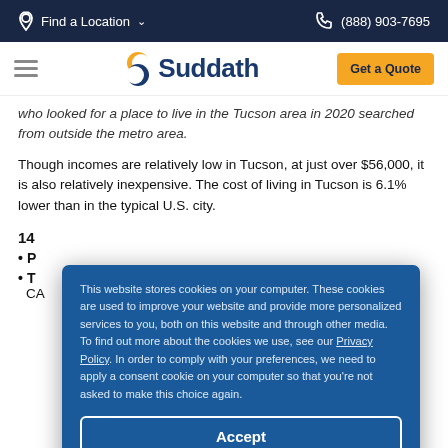Find a Location  (888) 903-7695
[Figure (logo): Suddath moving company logo with blue text and orange/blue S icon]
who looked for a place to live in the Tucson area in 2020 searched from outside the metro area.
Though incomes are relatively low in Tucson, at just over $56,000, it is also relatively inexpensive. The cost of living in Tucson is 6.1% lower than in the typical U.S. city.
14
P...
T... CA...
This website stores cookies on your computer. These cookies are used to improve your website and provide more personalized services to you, both on this website and through other media. To find out more about the cookies we use, see our Privacy Policy. In order to comply with your preferences, we need to apply a consent cookie on your computer so that you're not asked to make this choice again.
Accept